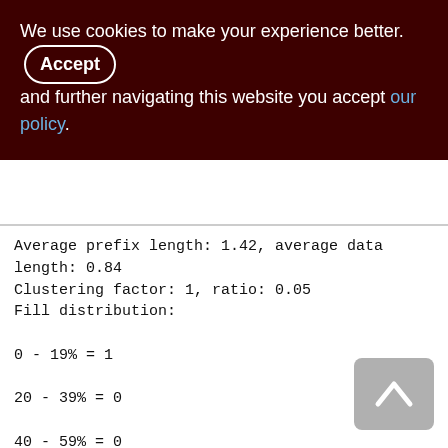We use cookies to make your experience better. By accepting and further navigating this website you accept our policy.
Average prefix length: 1.42, average data length: 0.84
Clustering factor: 1, ratio: 0.05
Fill distribution:
0 - 19% = 1
20 - 39% = 0
40 - 59% = 0
60 - 79% = 0
80 - 99% = 0

Index RDB$1 (0)
Root page: 335, depth: 1, leaf buckets: 1, nodes: 19